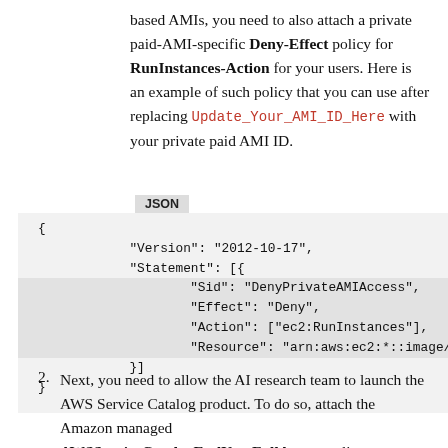based AMIs, you need to also attach a private paid-AMI-specific Deny-Effect policy for RunInstances-Action for your users. Here is an example of such policy that you can use after replacing Update_Your_AMI_ID_Here with your private paid AMI ID.
[Figure (screenshot): JSON code block showing an IAM policy with Sid DenyPrivateAMIAccess, Effect Deny, Action ec2:RunInstances, Resource arn:aws:ec2:*::image/U...]
2. Next, you need to allow the AI research team to launch the AWS Service Catalog product. To do so, attach the Amazon managed AWSServiceCatalogEndUserFullAccess policy